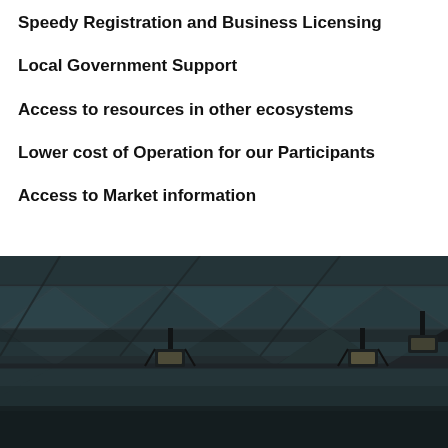Speedy Registration and Business Licensing
Local Government Support
Access to resources in other ecosystems
Lower cost of Operation for our Participants
Access to Market information
[Figure (photo): Looking up at a modern steel-and-glass architectural ceiling structure with triangular truss frames and hanging industrial light fixtures against a dark teal/slate background.]